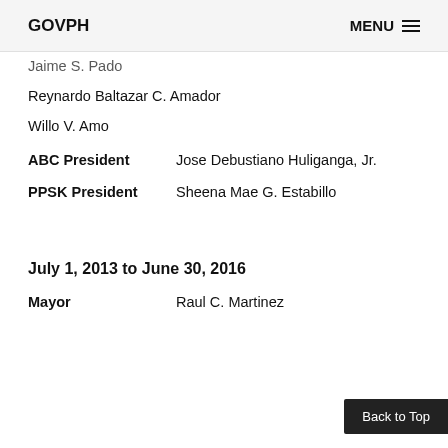GOVPH   MENU
Jaime S. Pado
Reynardo Baltazar C. Amador
Willo V. Amo
ABC President   Jose Debustiano Huliganga, Jr.
PPSK President   Sheena Mae G. Estabillo
July 1, 2013 to June 30, 2016
Mayor   Raul C. Martinez